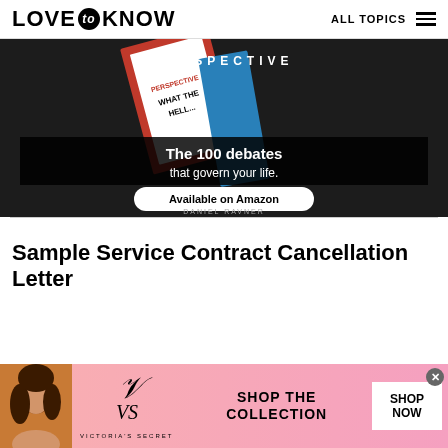LOVE to KNOW   ALL TOPICS
[Figure (photo): Advertisement banner showing a book titled 'PERSPECTIVE - What the Hell...' with text 'The 100 debates that govern your life.' and a button 'Available on Amazon'. Dark background.]
Sample Service Contract Cancellation Letter
[Figure (photo): Victoria's Secret advertisement banner with a woman, VS logo, text 'SHOP THE COLLECTION', and a 'SHOP NOW' button on pink gradient background.]